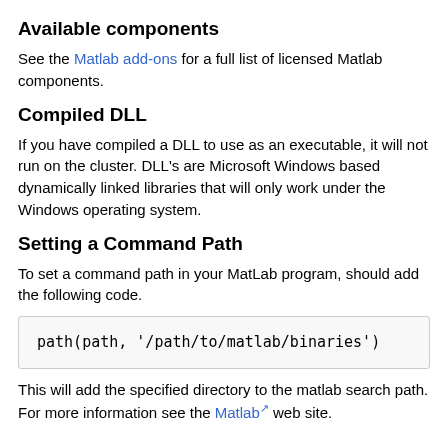Available components
See the Matlab add-ons for a full list of licensed Matlab components.
Compiled DLL
If you have compiled a DLL to use as an executable, it will not run on the cluster. DLL's are Microsoft Windows based dynamically linked libraries that will only work under the Windows operating system.
Setting a Command Path
To set a command path in your MatLab program, should add the following code.
path(path, '/path/to/matlab/binaries')
This will add the specified directory to the matlab search path. For more information see the Matlab web site.